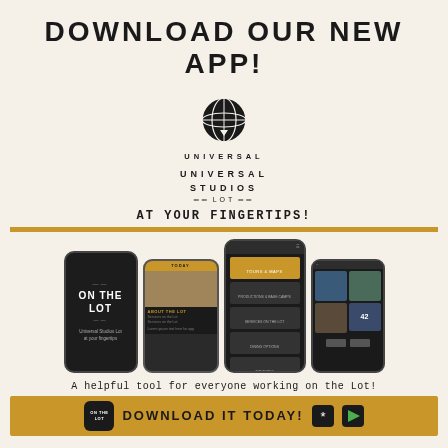DOWNLOAD OUR NEW APP!
[Figure (logo): Universal Studios Lot logo with globe icon and text UNIVERSAL STUDIOS = LOT =]
AT YOUR FINGERTIPS!
[Figure (photo): Four smartphone screens showing the ON THE LOT app interface with various screens including menu, photos of the studio lot]
A helpful tool for everyone working on the Lot!
DOWNLOAD IT TODAY!